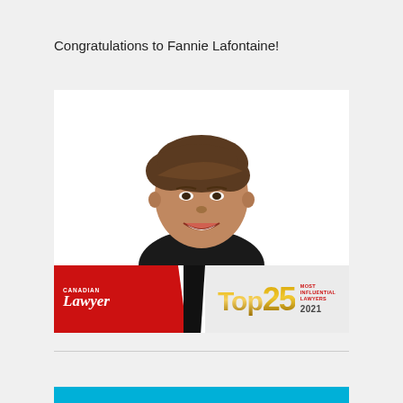Congratulations to Fannie Lafontaine!
[Figure (photo): Promotional award image showing a woman with short brown hair smiling, wearing a black top, above a Canadian Lawyer Top 25 Most Influential Lawyers 2021 banner.]
[Figure (other): Blue bar/button at the bottom of the page]